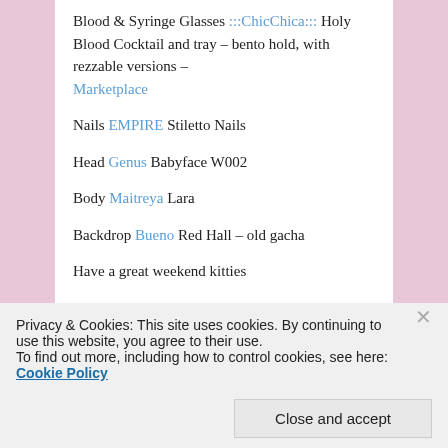Blood & Syringe Glasses :::ChicChica::: Holy Blood Cocktail and tray – bento hold, with rezzable versions – Marketplace
Nails EMPIRE Stiletto Nails
Head Genus Babyface W002
Body Maitreya Lara
Backdrop Bueno Red Hall – old gacha
Have a great weekend kitties
Privacy & Cookies: This site uses cookies. By continuing to use this website, you agree to their use. To find out more, including how to control cookies, see here: Cookie Policy
Close and accept